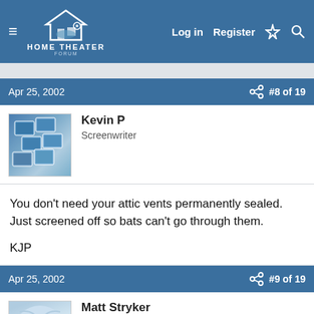HOME THEATER FORUM — Log in  Register
Apr 25, 2002  #8 of 19
Kevin P
Screenwriter
You don't need your attic vents permanently sealed. Just screened off so bats can't go through them.

KJP
Apr 25, 2002  #9 of 19
Matt Stryker
Screenwriter